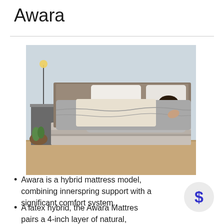Awara
[Figure (photo): Person sleeping on an Awara mattress with gray and white bedding in a light blue bedroom setting. The mattress has the AWARA brand name visible on its side.]
Awara is a hybrid mattress model, combining innerspring support with a significant comfort system.
A latex hybrid, the Awara Mattress pairs a 4-inch layer of natural,
[Figure (illustration): A circular grey button with a blue dollar sign ($) symbol in the center, representing a price or purchase button.]